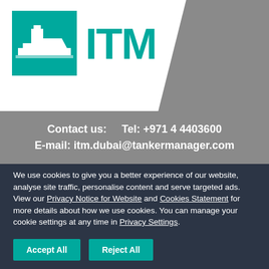[Figure (logo): ITM tanker management logo with teal ship silhouette icon and bold teal ITM text on white background with gray angled banner]
Contact us:    Tel: +971 4 4403600
E-mail: itm.dubai@tankermanager.com
We use cookies to give you a better experience of our website, analyse site traffic, personalise content and serve targeted ads. View our Privacy Notice for Website and Cookies Statement for more details about how we use cookies. You can manage your cookie settings at any time in Privacy Settings.
Accept All   Reject All